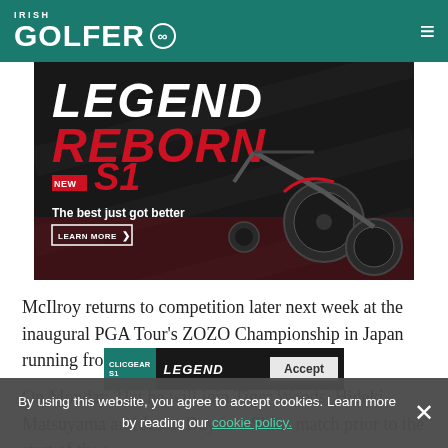IRISH GOLFER
[Figure (illustration): Advertisement for Clicgear S1 golf trolley. Dark background with bold text 'LEGEND' in white and 'REBORN' in red, 'NEW S1' badge, tagline 'The best just got better', 'LEARN MORE' button, and image of a black electric golf trolley.]
McIlroy returns to competition later next week at the inaugural PGA Tour's ZOZO Championship in Japan running from October 24th to 27th.
On Monday 21st he will join Tiger Woods, Hideki Matsuyama and Jason Day in a Skins match prior to the start of the t
By using this website, you agree to accept cookies. Learn more by reading our cookie policy.